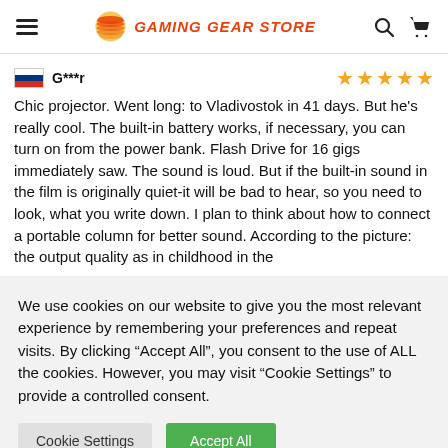GAMING GEAR STORE
G***r — 4 stars
Chic projector. Went long: to Vladivostok in 41 days. But he's really cool. The built-in battery works, if necessary, you can turn on from the power bank. Flash Drive for 16 gigs immediately saw. The sound is loud. But if the built-in sound in the film is originally quiet-it will be bad to hear, so you need to look, what you write down. I plan to think about how to connect a portable column for better sound. According to the picture: the output quality as in childhood in the
We use cookies on our website to give you the most relevant experience by remembering your preferences and repeat visits. By clicking "Accept All", you consent to the use of ALL the cookies. However, you may visit "Cookie Settings" to provide a controlled consent.
Cookie Settings | Accept All